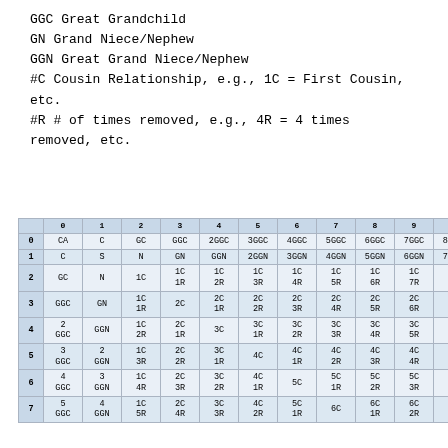GGC  Great Grandchild
GN  Grand Niece/Nephew
GGN  Great Grand Niece/Nephew
#C  Cousin Relationship, e.g., 1C = First Cousin, etc.
#R  # of times removed, e.g., 4R = 4 times removed, etc.
|  | 0 | 1 | 2 | 3 | 4 | 5 | 6 | 7 | 8 | 9 | 10 |
| --- | --- | --- | --- | --- | --- | --- | --- | --- | --- | --- | --- |
| 0 | CA | C | GC | GGC | 2GGC | 3GGC | 4GGC | 5GGC | 6GGC | 7GGC | 8GGC |
| 1 | C | S | N | GN | GGN | 2GGN | 3GGN | 4GGN | 5GGN | 6GGN | 7GGN |
| 2 | GC | N | 1C | 1C 1R | 1C 2R | 1C 3R | 1C 4R | 1C 5R | 1C 6R | 1C 7R | 1C 8R |
| 3 | GGC | GN | 1C 1R | 2C | 2C 1R | 2C 2R | 2C 3R | 2C 4R | 2C 5R | 2C 6R | 2C 7R |
| 4 | 2 GGC | GGN | 1C 2R | 2C 1R | 3C | 3C 1R | 3C 2R | 3C 3R | 3C 4R | 3C 5R | 3C 6R |
| 5 | 3 GGC | 2 GGN | 1C 3R | 2C 2R | 3C 1R | 4C | 4C 1R | 4C 2R | 4C 3R | 4C 4R | 4C 5R |
| 6 | 4 GGC | 3 GGN | 1C 4R | 2C 3R | 3C 2R | 4C 1R | 5C | 5C 1R | 5C 2R | 5C 3R | 5C 4R |
| 7 | 5 GGC | 4 GGN | 1C 5R | 2C 4R | 3C 3R | 4C 2R | 5C 1R | 6C | 6C 1R | 6C 2R | 6C 3R |